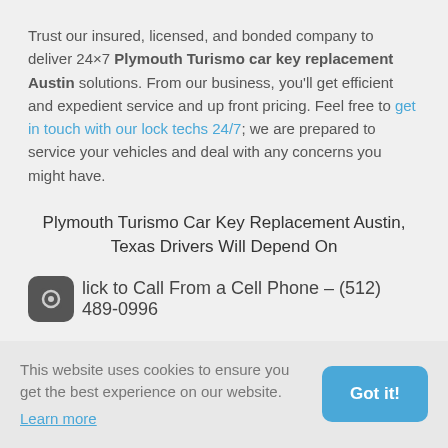Trust our insured, licensed, and bonded company to deliver 24×7 Plymouth Turismo car key replacement Austin solutions. From our business, you'll get efficient and expedient service and up front pricing. Feel free to get in touch with our lock techs 24/7; we are prepared to service your vehicles and deal with any concerns you might have.
Plymouth Turismo Car Key Replacement Austin, Texas Drivers Will Depend On
Click to Call From a Cell Phone – (512) 489-0996
This website uses cookies to ensure you get the best experience on our website. Learn more